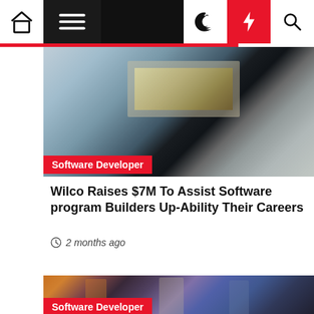Navigation bar with home, menu, moon, lightning, and search icons
[Figure (screenshot): Blurred background photo showing a tablet/screen with landscape imagery, silhouette of a person]
Software Developer
Wilco Raises $7M To Assist Software program Builders Up-Ability Their Careers
2 months ago
[Figure (screenshot): Gaming scene with three armored characters/guardians standing together in a sci-fi environment with purple lighting]
Software Developer